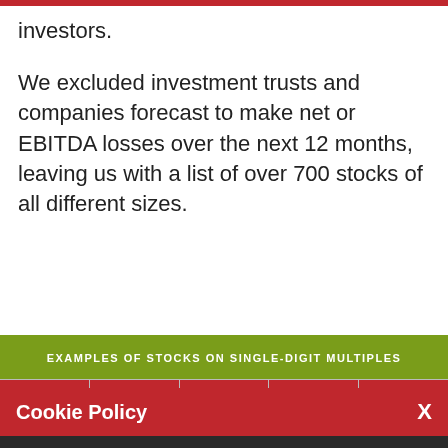investors.
We excluded investment trusts and companies forecast to make net or EBITDA losses over the next 12 months, leaving us with a list of over 700 stocks of all different sizes.
EXAMPLES OF STOCKS ON SINGLE-DIGIT MULTIPLES
Cookie Policy
We use cookies to ensure that we give you the best experience on our website. If you continue without changing your settings, we'll assume that you are happy to receive all cookies from this website. If you would like to change your preferences you may do so by following the instructions here.